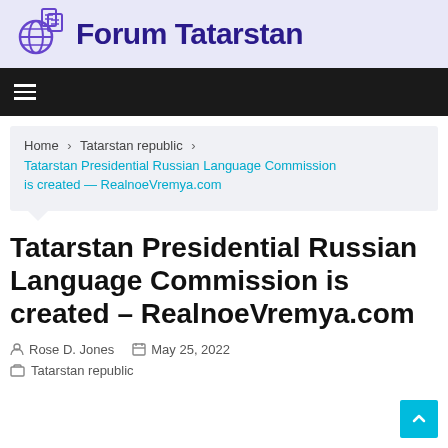Forum Tatarstan
[Figure (logo): Forum Tatarstan website logo with globe and document icons in purple, and bold dark blue text 'Forum Tatarstan']
Home > Tatarstan republic > Tatarstan Presidential Russian Language Commission is created — RealnoeVremya.com
Tatarstan Presidential Russian Language Commission is created – RealnoeVremya.com
Rose D. Jones   May 25, 2022
Tatarstan republic